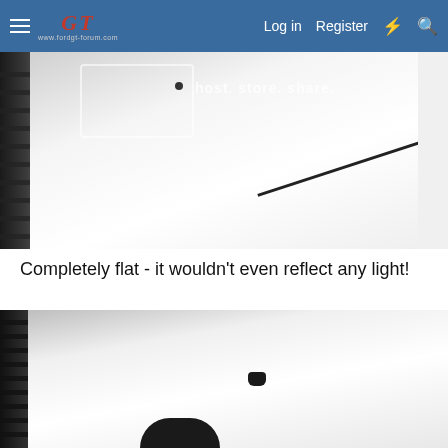GT Forum — Log in  Register
[Figure (photo): Close-up of white car hood with black grille on the left side. A watermark box and 'host. store. share.' text overlay visible. A small black antenna or screw is visible on the white hood surface.]
Completely flat - it wouldn't even reflect any light!
[Figure (photo): Another close-up of a white car hood with dark grille on the left. A small black sensor or button is visible in the middle of the hood. A dark rounded object is partially visible at the bottom.]